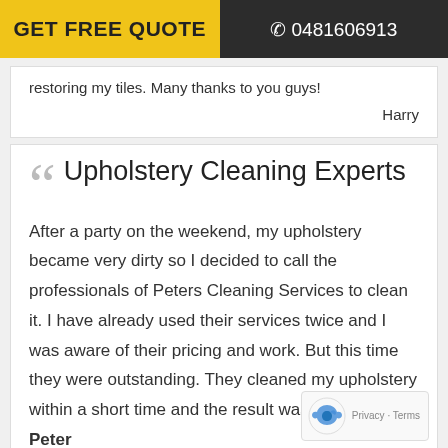GET FREE QUOTE | 0481606913
restoring my tiles. Many thanks to you guys!
Harry
Upholstery Cleaning Experts
After a party on the weekend, my upholstery became very dirty so I decided to call the professionals of Peters Cleaning Services to clean it. I have already used their services twice and I was aware of their pricing and work. But this time they were outstanding. They cleaned my upholstery within a short time and the result was unbelievable. Peter